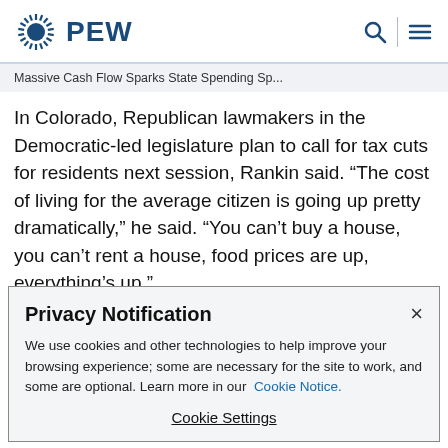PEW
Massive Cash Flow Sparks State Spending Sp...
In Colorado, Republican lawmakers in the Democratic-led legislature plan to call for tax cuts for residents next session, Rankin said. “The cost of living for the average citizen is going up pretty dramatically,” he said. “You can’t buy a house, you can’t rent a house, food prices are up, everything’s up.”
Privacy Notification
We use cookies and other technologies to help improve your browsing experience; some are necessary for the site to work, and some are optional. Learn more in our Cookie Notice.
Cookie Settings